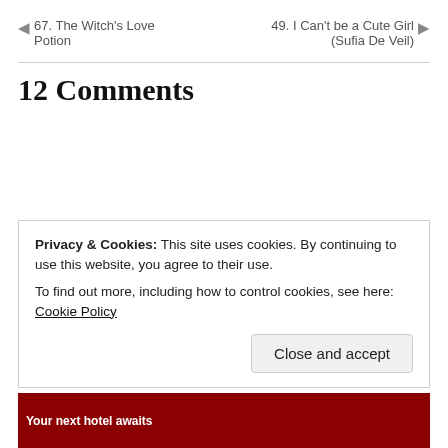◄ 67. The Witch's Love Potion
49. I Can't be a Cute Girl (Sufia De Veil) ►
12 Comments
Privacy & Cookies: This site uses cookies. By continuing to use this website, you agree to their use.
To find out more, including how to control cookies, see here: Cookie Policy
Close and accept